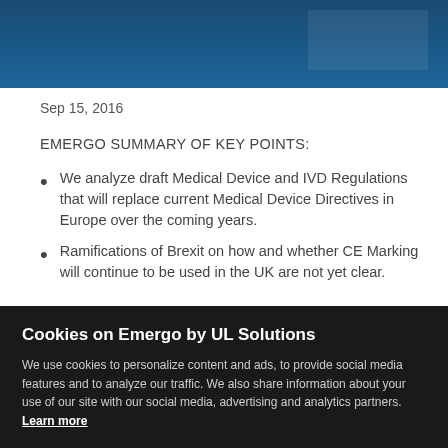[Figure (other): Blue header banner with darker rectangular element on the right side]
Sep 15, 2016
EMERGO SUMMARY OF KEY POINTS:
We analyze draft Medical Device and IVD Regulations that will replace current Medical Device Directives in Europe over the coming years.
Ramifications of Brexit on how and whether CE Marking will continue to be used in the UK are not yet clear.
Cookies on Emergo by UL Solutions
We use cookies to personalize content and ads, to provide social media features and to analyze our traffic. We also share information about your use of our site with our social media, advertising and analytics partners. Learn more